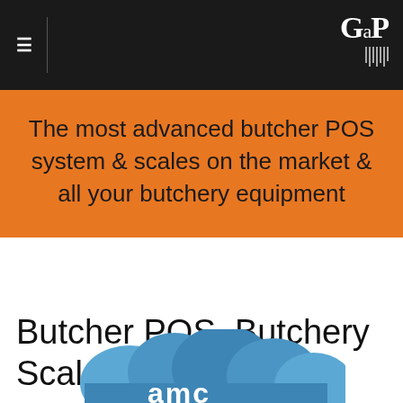≡ | GaP
The most advanced butcher POS system & scales on the market & all your butchery equipment
Butcher POS, Butchery Scales & Equipment
[Figure (logo): Cloud-based software logo with letters 'amc' in white on blue cloud shape]